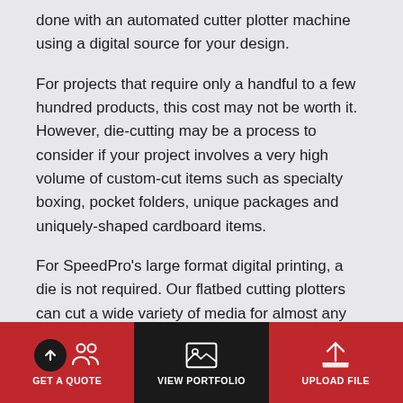done with an automated cutter plotter machine using a digital source for your design.
For projects that require only a handful to a few hundred products, this cost may not be worth it. However, die-cutting may be a process to consider if your project involves a very high volume of custom-cut items such as specialty boxing, pocket folders, unique packages and uniquely-shaped cardboard items.
For SpeedPro's large format digital printing, a die is not required. Our flatbed cutting plotters can cut a wide variety of media for almost any type of
[Figure (infographic): Bottom navigation bar with three sections on a red/black background: GET A QUOTE (with circular up-arrow icon and two-person icon), VIEW PORTFOLIO (with image/mountain icon, black background), and UPLOAD FILE (with upload arrow icon).]